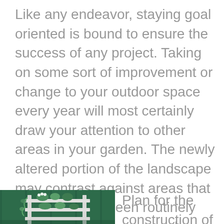Like any endeavor, staying goal oriented is bound to ensure the success of any project. Taking on some sort of improvement or change to your outdoor space every year will most certainly draw your attention to other areas in your garden. The newly altered portion of the landscape may contrast against areas that have been not been routinely maintained and may now have your attention on your outdoor space. Get creative and think about what would look nice. Maybe add some new planters around doors, walkways, stairs, or windows.
[Figure (photo): A white wooden garden shelf or ladder planter with plants and flowers against a dark green fence background.]
Plan for the construction of a hardscape patio or